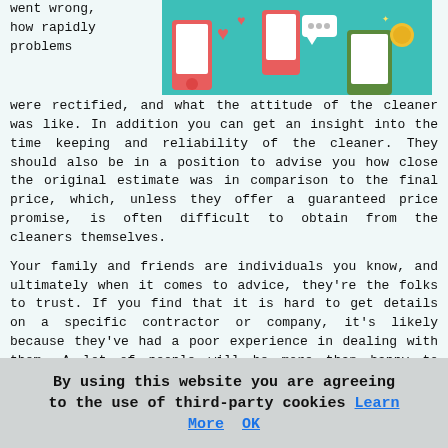[Figure (illustration): Colorful illustration showing hands holding smartphones with hearts and chat icons, on a teal background]
went wrong, how rapidly problems were rectified, and what the attitude of the cleaner was like. In addition you can get an insight into the time keeping and reliability of the cleaner. They should also be in a position to advise you how close the original estimate was in comparison to the final price, which, unless they offer a guaranteed price promise, is often difficult to obtain from the cleaners themselves.
Your family and friends are individuals you know, and ultimately when it comes to advice, they're the folks to trust. If you find that it is hard to get details on a specific contractor or company, it's likely because they've had a poor experience in dealing with them. A lot of people will be more than happy to recommend a good cleaner, less likely to talk about a poor one, and rather than 'denigrate' a a below par contractor they've had dealings with previously, they might endorse some alternative firm.
Willingdon Cleaning Tasks
[Figure (illustration): Partial illustration with red/orange background and a circular logo element]
There is a variety of work that
By using this website you are agreeing to the use of third-party cookies Learn More  OK